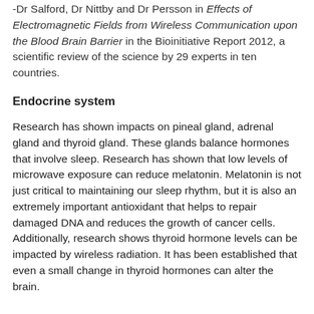-Dr Salford, Dr Nittby and Dr Persson in Effects of Electromagnetic Fields from Wireless Communication upon the Blood Brain Barrier in the Bioinitiative Report 2012, a scientific review of the science by 29 experts in ten countries.
Endocrine system
Research has shown impacts on pineal gland, adrenal gland and thyroid gland. These glands balance hormones that involve sleep. Research has shown that low levels of microwave exposure can reduce melatonin. Melatonin is not just critical to maintaining our sleep rhythm, but it is also an extremely important antioxidant that helps to repair damaged DNA and reduces the growth of cancer cells. Additionally, research shows thyroid hormone levels can be impacted by wireless radiation. It has been established that even a small change in thyroid hormones can alter the brain.